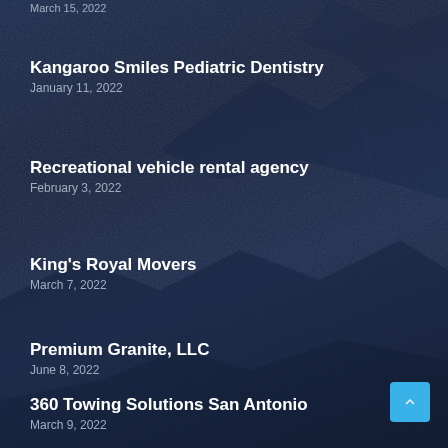March 15, 2022
Kangaroo Smiles Pediatric Dentistry
January 11, 2022
Recreational vehicle rental agency
February 3, 2022
King's Royal Movers
March 7, 2022
Premium Granite, LLC
June 8, 2022
360 Towing Solutions San Antonio
March 9, 2022